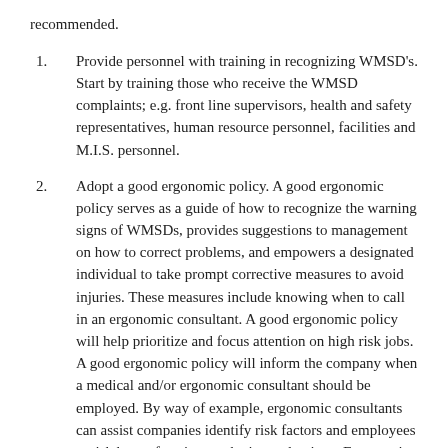recommended.
Provide personnel with training in recognizing WMSD's. Start by training those who receive the WMSD complaints; e.g. front line supervisors, health and safety representatives, human resource personnel, facilities and M.I.S. personnel.
Adopt a good ergonomic policy. A good ergonomic policy serves as a guide of how to recognize the warning signs of WMSDs, provides suggestions to management on how to correct problems, and empowers a designated individual to take prompt corrective measures to avoid injuries. These measures include knowing when to call in an ergonomic consultant. A good ergonomic policy will help prioritize and focus attention on high risk jobs. A good ergonomic policy will inform the company when a medical and/or ergonomic consultant should be employed. By way of example, ergonomic consultants can assist companies identify risk factors and employees at risk by performing work-site evaluations. Ergonomic consultants can also assist in re-design, re-ordering, and installation of safer products. They can also provide supervisor and worker training and they provide a good outside source of documentation of